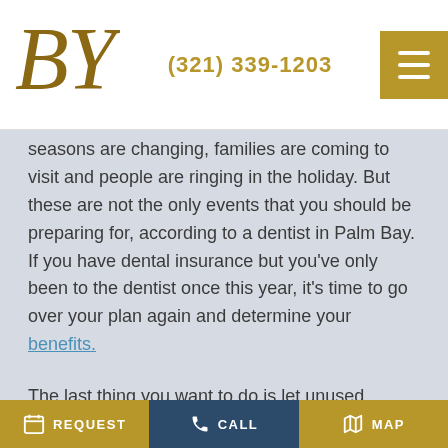(321) 339-1203
seasons are changing, families are coming to visit and people are ringing in the holiday. But these are not the only events that you should be preparing for, according to a dentist in Palm Bay. If you have dental insurance but you've only been to the dentist once this year, it's time to go over your plan again and determine your benefits.
The last thing you want to do is let unused benefits you paid into go to waste!
REQUEST   CALL   MAP